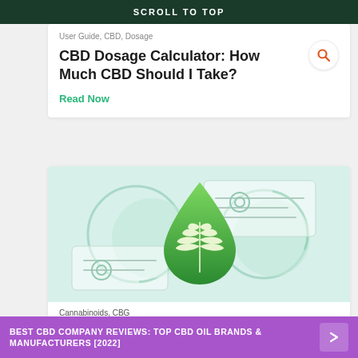SCROLL TO TOP
User Guide, CBD, Dosage
CBD Dosage Calculator: How Much CBD Should I Take?
Read Now
[Figure (illustration): Green cannabis leaf inside a green droplet shape, surrounded by circular arrows and abstract card UI elements on a light green background]
Cannabinoids, CBG
BEST CBD COMPANY REVIEWS: TOP CBD OIL BRANDS & MANUFACTURERS [2022]